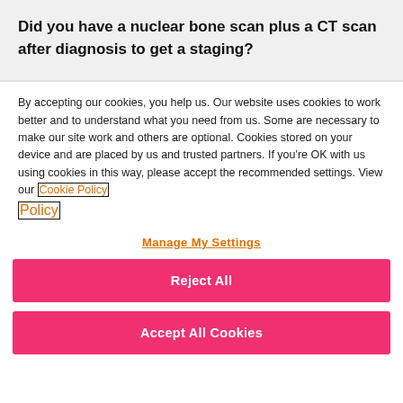Did you have a nuclear bone scan plus a CT scan after diagnosis to get a staging?
By accepting our cookies, you help us. Our website uses cookies to work better and to understand what you need from us. Some are necessary to make our site work and others are optional. Cookies stored on your device and are placed by us and trusted partners. If you're OK with us using cookies in this way, please accept the recommended settings. View our Cookie Policy
Manage My Settings
Reject All
Accept All Cookies